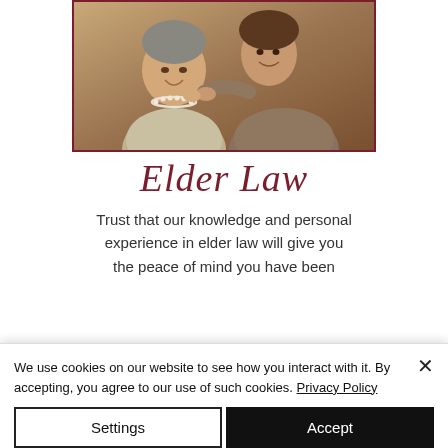[Figure (photo): Two elderly women sitting together, one smiling with pearl necklace, the other leaning toward her affectionately, warm tones]
Elder Law
Trust that our knowledge and personal experience in elder law will give you the peace of mind you have been
We use cookies on our website to see how you interact with it. By accepting, you agree to our use of such cookies. Privacy Policy
Settings
Accept